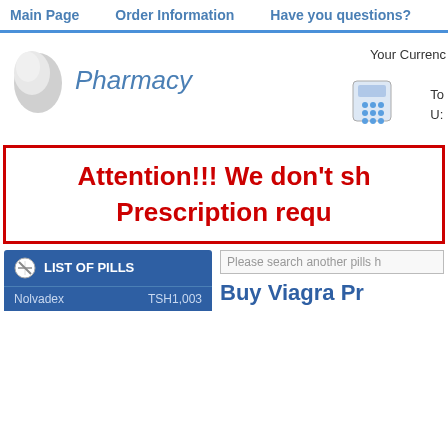Main Page | Order Information | Have you questions?
[Figure (logo): Pharmacy logo with pill graphic and text 'Pharmacy']
Your Currency
[Figure (photo): Phone/telephone icon]
To
U:
Attention!!! We don't sh Prescription requ
LIST OF PILLS
Nolvadex	TSH1,003
Please search another pills h
Buy Viagra Pr